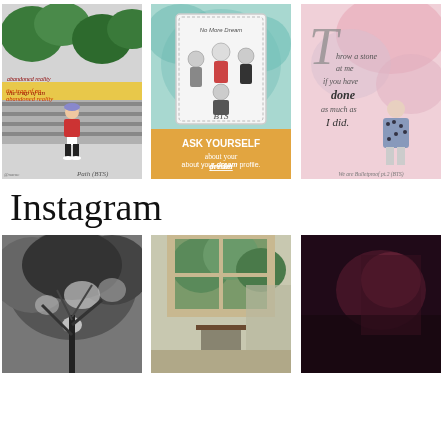[Figure (illustration): Three fan art illustrations side by side: left shows a figure in red jacket with text 'the trap of an abandoned reality' and label 'Path (BTS)'; center shows BTS group stamp design with 'No More Dream', 'BTS', 'ASK YOURSELF about your dream profile'; right shows a seated figure with floral shirt and quote 'Throw a stone at me if you have done as much as I did.' with label 'We are Bulletproof pt.2 (BTS)']
Instagram
[Figure (photo): Three Instagram photos side by side: left is a black-and-white photo looking up through tree branches; center is a color photo of a window with a chair; right is a dark/low-light photo of a dimly lit room]